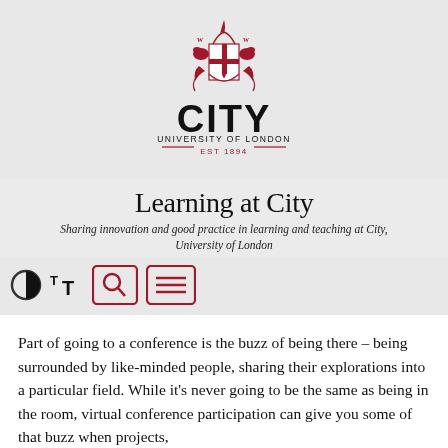[Figure (logo): City University of London crest and wordmark logo in red and black, with text CITY UNIVERSITY OF LONDON EST 1894]
Learning at City
Sharing innovation and good practice in learning and teaching at City, University of London
[Figure (infographic): UI controls: contrast toggle circle icon, text-size T icon, search magnifier button, and menu/hamburger button — all in red outline style]
Part of going to a conference is the buzz of being there – being surrounded by like-minded people, sharing their explorations into a particular field. While it's never going to be the same as being in the room, virtual conference participation can give you some of that buzz when projects,